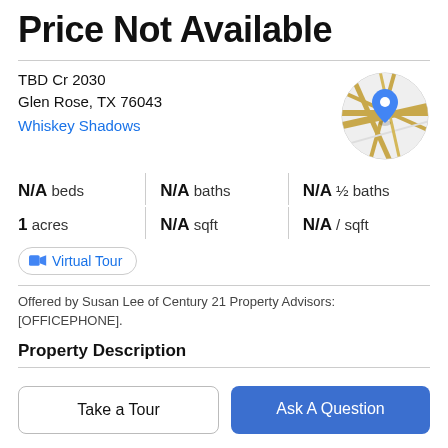Price Not Available
TBD Cr 2030
Glen Rose, TX 76043
Whiskey Shadows
[Figure (map): Circular map thumbnail showing a location pin marker on a road map]
N/A beds   N/A baths   N/A ½ baths
1 acres   N/A sqft   N/A / sqft
Virtual Tour
Offered by Susan Lee of Century 21 Property Advisors: [OFFICEPHONE].
Property Description
Take a Tour
Ask A Question